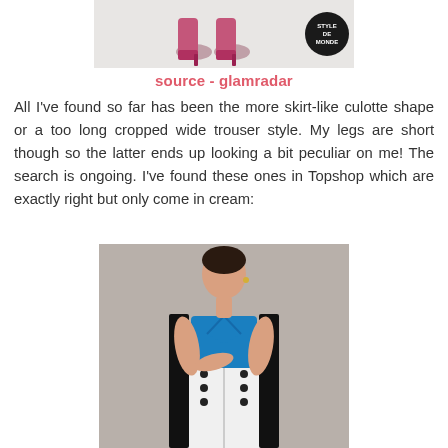[Figure (photo): Cropped view of pink metallic high-heeled boots on a light background, with a circular black badge reading 'STYLE DE MONDE' in the top right corner]
source - glamradar
All I've found so far has been the more skirt-like culotte shape or a too long cropped wide trouser style. My legs are short though so the latter ends up looking a bit peculiar on me! The search is ongoing. I've found these ones in Topshop which are exactly right but only come in cream:
[Figure (photo): Fashion photo of a young woman with dark hair wearing a blue top, long black sleeveless duster coat, and white wide-leg trousers with black buttons, posed against a grey background]